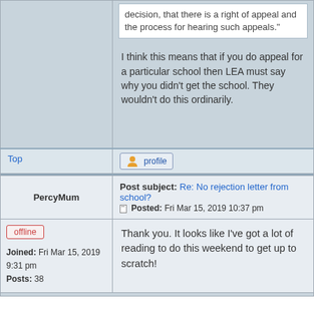decision, that there is a right of appeal and the process for hearing such appeals."
I think this means that if you do appeal for a particular school then LEA must say why you didn't get the school. They wouldn't do this ordinarily.
Top
profile
Post subject: Re: No rejection letter from school?
Posted: Fri Mar 15, 2019 10:37 pm
PercyMum
offline
Joined: Fri Mar 15, 2019 9:31 pm
Posts: 38
Thank you. It looks like I've got a lot of reading to do this weekend to get up to scratch!